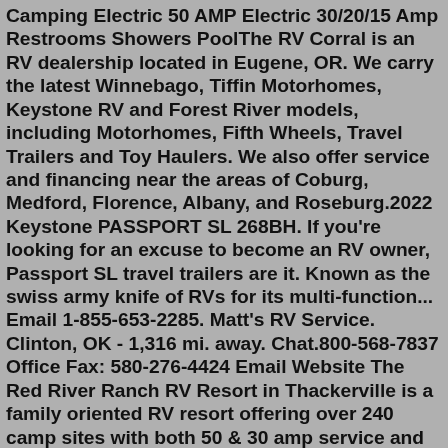Camping Electric 50 AMP Electric 30/20/15 Amp Restrooms Showers PoolThe RV Corral is an RV dealership located in Eugene, OR. We carry the latest Winnebago, Tiffin Motorhomes, Keystone RV and Forest River models, including Motorhomes, Fifth Wheels, Travel Trailers and Toy Haulers. We also offer service and financing near the areas of Coburg, Medford, Florence, Albany, and Roseburg.2022 Keystone PASSPORT SL 268BH. If you're looking for an excuse to become an RV owner, Passport SL travel trailers are it. Known as the swiss army knife of RVs for its multi-function... Email 1-855-653-2285. Matt's RV Service. Clinton, OK - 1,316 mi. away. Chat.800-568-7837 Office Fax: 580-276-4424 Email Website The Red River Ranch RV Resort in Thackerville is a family oriented RV resort offering over 240 camp sites with both 50 & 30 amp service and pull-thru sites. Additional amenities include full hookups, clubhouse, laundry, showers, propane and group facilities.4661 Hedges Rd Ardmore, OK 73401 The areas most complete resort, featuring 100+ sites.